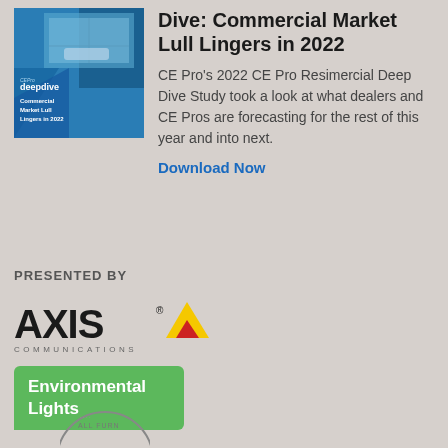[Figure (illustration): CE Pro Deep Dive book cover: blue geometric design with living room photo, text 'CE Pro deepdive Commercial Market Lull Lingers in 2022']
Dive: Commercial Market Lull Lingers in 2022
CE Pro's 2022 CE Pro Resimercial Deep Dive Study took a look at what dealers and CE Pros are forecasting for the rest of this year and into next.
Download Now
PRESENTED BY
[Figure (logo): Axis Communications logo: bold black AXIS text with yellow and red triangle, COMMUNICATIONS in spaced caps below]
[Figure (logo): Environmental Lights logo: white text on green rounded rectangle badge]
[Figure (logo): Marshall Furniture circular seal logo, partially visible]